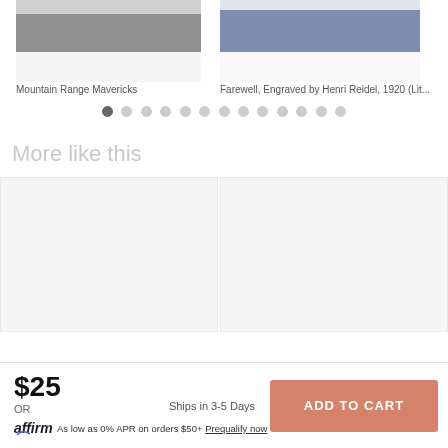[Figure (photo): Black and white landscape photo - Mountain Range Mavericks]
Mountain Range Mavericks
[Figure (photo): Color photo of vintage blue vehicle - Farewell, Engraved by Henri Reidel, 1920 (Lit...)]
Farewell, Engraved by Henri Reidel, 1920 (Lit...
More like this
[Figure (photo): Empty product card placeholder left]
[Figure (photo): Empty product card placeholder right]
$25
OR
affirm As low as 0% APR on orders $50+ Prequalify now
Ships in 3-5 Days
ADD TO CART